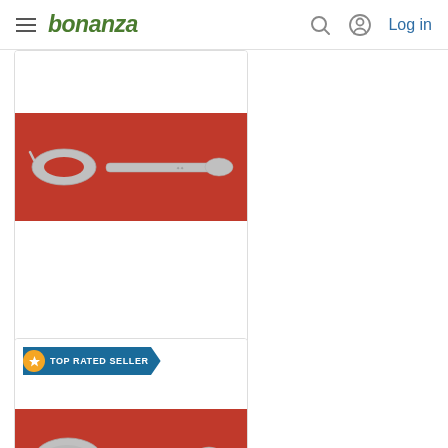bonanza — Log in
[Figure (photo): Silver olive spoon with decorative handle on red background — Sculptured Rose By Towle Sterling Silver]
Sculptured Rose By Towle Sterling Silver Olive Spoon Ideal 5 3/4" Custom...
$69.00
[Figure (photo): Silver spoon with ornate handle on red background — second product listing with TOP RATED SELLER badge]